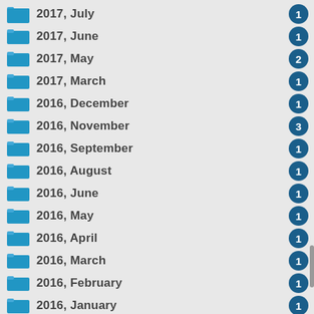2017, July
2017, June
2017, May
2017, March
2016, December
2016, November
2016, September
2016, August
2016, June
2016, May
2016, April
2016, March
2016, February
2016, January
2015, December
2015, November
2015, October
2015, September